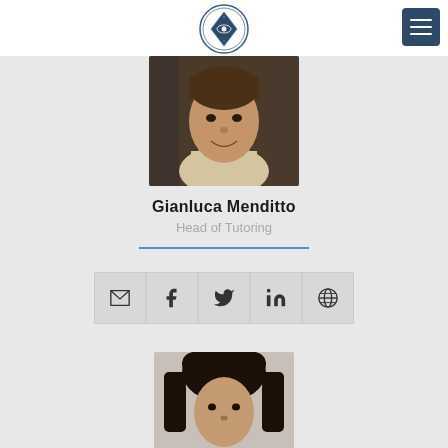[Figure (logo): Circular institutional logo/seal with diamond and medical symbol]
[Figure (photo): Portrait photo of Gianluca Menditto, a young man in a turtleneck sweater, smiling]
Gianluca Menditto
Head of Tutoring
[Figure (infographic): Social media icons row: email (envelope), Facebook (f), Twitter (bird), LinkedIn (in), globe/website]
[Figure (photo): Portrait photo of second person, young man with curly dark hair, partially visible]